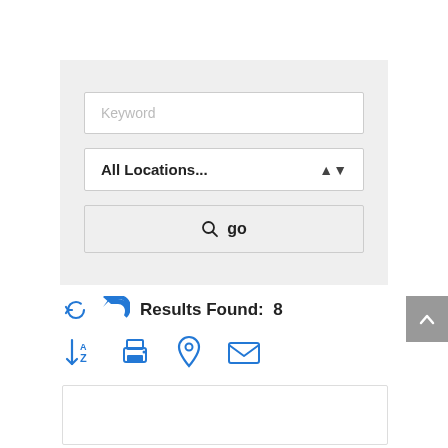[Figure (screenshot): Search form panel with a keyword text input, an All Locations dropdown, and a go button with search icon]
Results Found: 8
[Figure (infographic): Row of blue icons: A-Z sort, print, location pin, email]
[Figure (screenshot): Empty result card box at bottom of page]